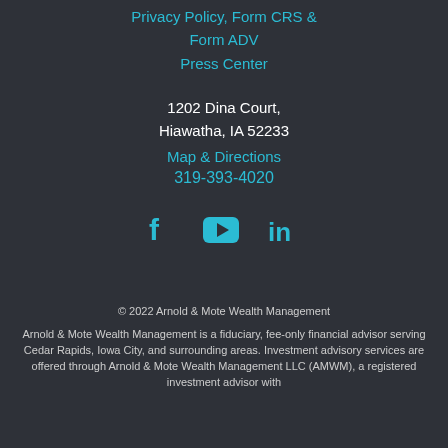Privacy Policy, Form CRS & Form ADV
Press Center
1202 Dina Court, Hiawatha, IA 52233
Map & Directions
319-393-4020
[Figure (illustration): Social media icons: Facebook (f), YouTube (play button), LinkedIn (in)]
© 2022 Arnold & Mote Wealth Management
Arnold & Mote Wealth Management is a fiduciary, fee-only financial advisor serving Cedar Rapids, Iowa City, and surrounding areas. Investment advisory services are offered through Arnold & Mote Wealth Management LLC (AMWM), a registered investment advisor with the Securities and Exchange Commission (SEC).